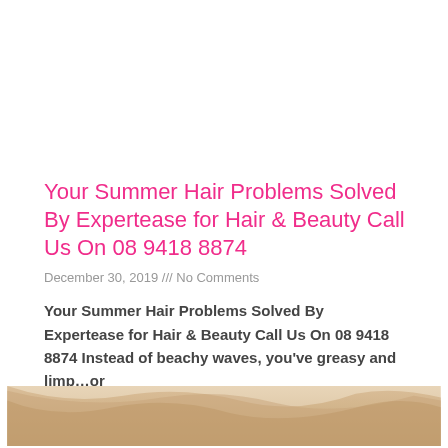Your Summer Hair Problems Solved By Expertease for Hair & Beauty Call Us On 08 9418 8874
December 30, 2019 /// No Comments
Your Summer Hair Problems Solved By Expertease for Hair & Beauty Call Us On 08 9418 8874 Instead of beachy waves, you've greasy and limp…or
Read More »
[Figure (photo): Bottom portion of a photo showing a woman with blond hair, cropped at the bottom of the page]